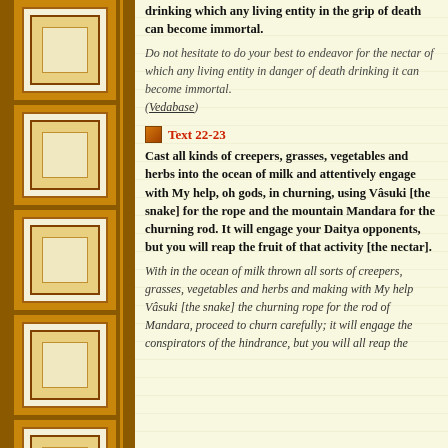drinking which any living entity in the grip of death can become immortal.
Do not hesitate to do your best to endeavor for the nectar of which any living entity in danger of death drinking it can become immortal. (Vedabase)
Text 22-23
Cast all kinds of creepers, grasses, vegetables and herbs into the ocean of milk and attentively engage with My help, oh gods, in churning, using Vâsuki [the snake] for the rope and the mountain Mandara for the churning rod. It will engage your Daitya opponents, but you will reap the fruit of that activity [the nectar].
With in the ocean of milk thrown all sorts of creepers, grasses, vegetables and herbs and making with My help Vâsuki [the snake] the churning rope for the rod of Mandara, proceed to churn carefully; it will engage the conspirators of the hindrance, but you will all reap the...